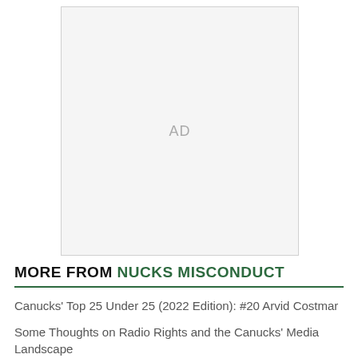[Figure (other): Advertisement placeholder box with 'AD' text centered in a light gray rectangle]
MORE FROM NUCKS MISCONDUCT
Canucks' Top 25 Under 25 (2022 Edition): #20 Arvid Costmar
Some Thoughts on Radio Rights and the Canucks' Media Landscape